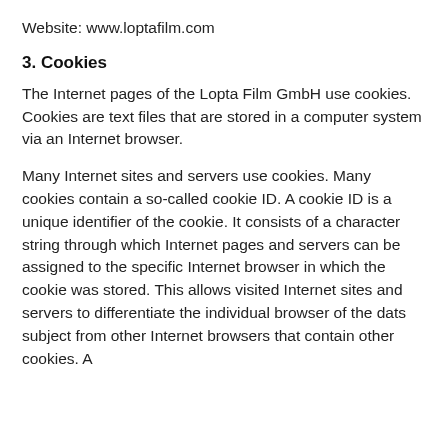Website: www.loptafilm.com
3. Cookies
The Internet pages of the Lopta Film GmbH use cookies. Cookies are text files that are stored in a computer system via an Internet browser.
Many Internet sites and servers use cookies. Many cookies contain a so-called cookie ID. A cookie ID is a unique identifier of the cookie. It consists of a character string through which Internet pages and servers can be assigned to the specific Internet browser in which the cookie was stored. This allows visited Internet sites and servers to differentiate the individual browser of the dats subject from other Internet browsers that contain other cookies. A